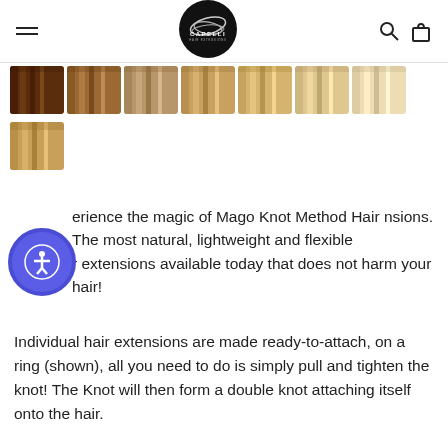[Figure (logo): Capelli Hair Extensions logo — black circle with silver hair strand design and CAPELLI text]
[Figure (photo): Row of hair color swatches ranging from dark brown to very light blonde]
[Figure (photo): Single hair color swatch — golden blonde/strawberry blonde tone]
erience the magic of Mago Knot Method Hair nsions. The most natural, lightweight and flexible r extensions available today that does not harm your hair!
Individual hair extensions are made ready-to-attach, on a ring (shown), all you need to do is simply pull and tighten the knot! The Knot will then form a double knot attaching itself onto the hair.